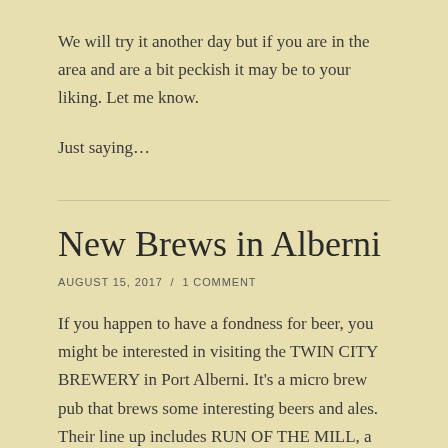We will try it another day but if you are in the area and are a bit peckish it may be to your liking. Let me know.
Just saying…
New Brews in Alberni
AUGUST 15, 2017 / 1 COMMENT
If you happen to have a fondness for beer, you might be interested in visiting the TWIN CITY BREWERY in Port Alberni. It's a micro brew pub that brews some interesting beers and ales. Their line up includes RUN OF THE MILL, a West Coast IPA, TICKETY BOO, a